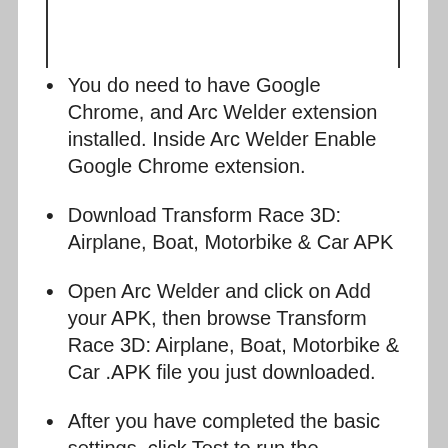You do need to have Google Chrome, and Arc Welder extension installed. Inside Arc Welder Enable Google Chrome extension.
Download Transform Race 3D: Airplane, Boat, Motorbike & Car APK
Open Arc Welder and click on Add your APK, then browse Transform Race 3D: Airplane, Boat, Motorbike & Car .APK file you just downloaded.
After you have completed the basic settings, click Test to run the